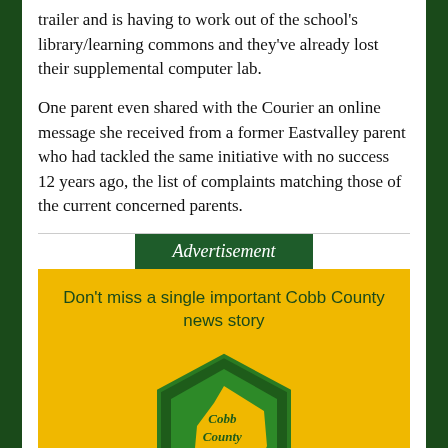trailer and is having to work out of the school's library/learning commons and they've already lost their supplemental computer lab.

One parent even shared with the Courier an online message she received from a former Eastvalley parent who had tackled the same initiative with no success 12 years ago, the list of complaints matching those of the current concerned parents.
Advertisement
[Figure (infographic): Cobb County Courier advertisement banner. Yellow background with centered text 'Don't miss a single important Cobb County news story' and a dark green hexagon logo containing the text 'Cobb County Courier' over a gold county-shape silhouette.]